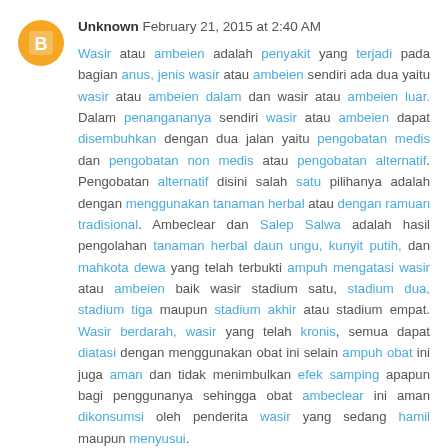Unknown February 21, 2015 at 2:40 AM
Wasir atau ambeien adalah penyakit yang terjadi pada bagian anus, jenis wasir atau ambeien sendiri ada dua yaitu wasir atau ambeien dalam dan wasir atau ambeien luar. Dalam penangananya sendiri wasir atau ambeien dapat disembuhkan dengan dua jalan yaitu pengobatan medis dan pengobatan non medis atau pengobatan alternatif. Pengobatan alternatif disini salah satu pilihanya adalah dengan menggunakan tanaman herbal atau dengan ramuan tradisional. Ambeclear dan Salep Salwa adalah hasil pengolahan tanaman herbal daun ungu, kunyit putih, dan mahkota dewa yang telah terbukti ampuh mengatasi wasir atau ambeien baik wasir stadium satu, stadium dua, stadium tiga maupun stadium akhir atau stadium empat. Wasir berdarah, wasir yang telah kronis, semua dapat diatasi dengan menggunakan obat ini selain ampuh obat ini juga aman dan tidak menimbulkan efek samping apapun bagi penggunanya sehingga obat ambeclear ini aman dikonsumsi oleh penderita wasir yang sedang hamil maupun menyusui.